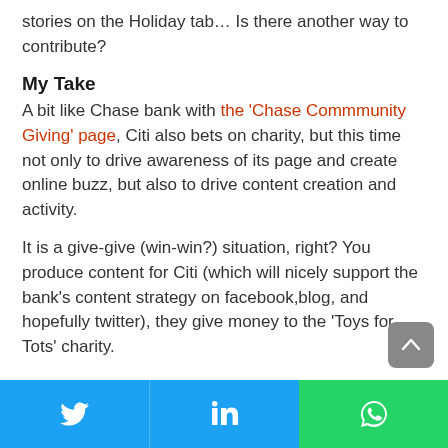stories on the Holiday tab… Is there another way to contribute?
My Take
A bit like Chase bank with the 'Chase Commmunity Giving' page, Citi also bets on charity, but this time not only to drive awareness of its page and create online buzz, but also to drive content creation and activity.
It is a give-give (win-win?) situation, right? You produce content for Citi (which will nicely support the bank's content strategy on facebook,blog, and hopefully twitter), they give money to the 'Toys for Tots' charity.